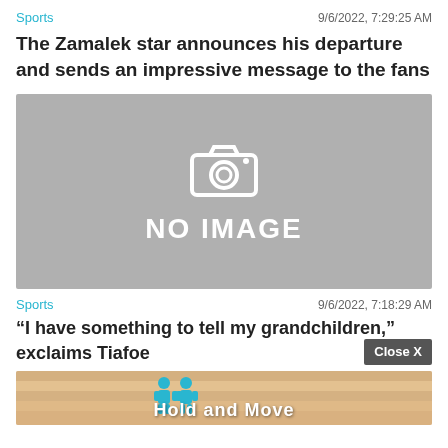Sports | 9/6/2022, 7:29:25 AM
The Zamalek star announces his departure and sends an impressive message to the fans
[Figure (photo): No image placeholder with camera icon and text 'NO IMAGE' on grey background]
Sports | 9/6/2022, 7:18:29 AM
“I have something to tell my grandchildren,” exclaims Tiafoe
[Figure (screenshot): Advertisement banner for 'Hold and Move' app showing cartoon figures on a wooden surface, with close X button and help/close icons]